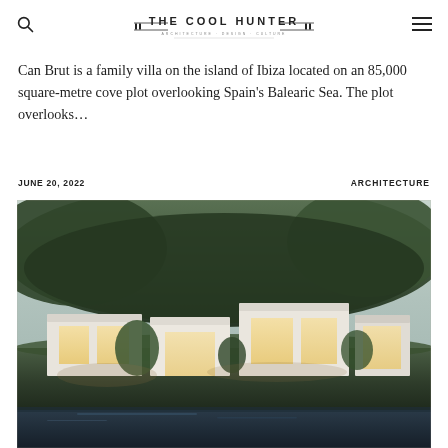THE COOL HUNTER
Can Brut is a family villa on the island of Ibiza located on an 85,000 square-metre cove plot overlooking Spain's Balearic Sea. The plot overlooks...
JUNE 20, 2022   ARCHITECTURE
[Figure (photo): Exterior night view of Can Brut villa on Ibiza — a low-profile modernist white structure with flat roofs and large glazed openings glowing warmly, set against a dense tree canopy at dusk, with a foreground pool reflecting the scene.]